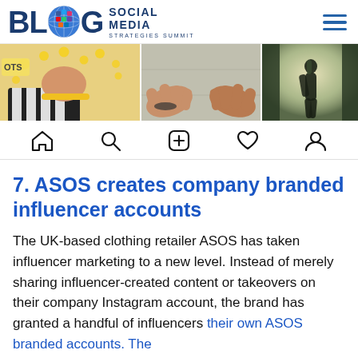BLOG Social Media Strategies Summit
[Figure (photo): Photo strip showing three images: hands with yellow dots/coins, two hands reaching toward each other, and a silhouette holding a bottle in backlight]
[Figure (screenshot): Instagram-style navigation bar with home, search, plus, heart, and profile icons]
7. ASOS creates company branded influencer accounts
The UK-based clothing retailer ASOS has taken influencer marketing to a new level. Instead of merely sharing influencer-created content or takeovers on their company Instagram account, the brand has granted a handful of influencers their own ASOS branded accounts. The…